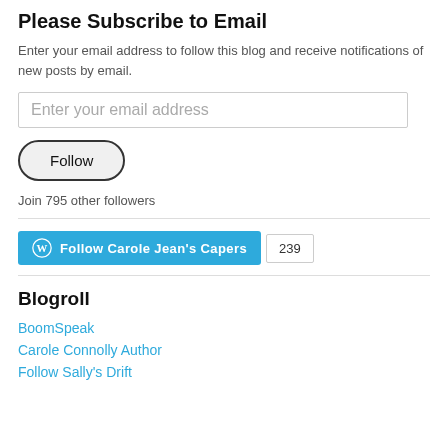Please Subscribe to Email
Enter your email address to follow this blog and receive notifications of new posts by email.
[Figure (other): Email address input field with placeholder text 'Enter your email address']
[Figure (other): Follow button with rounded pill shape]
Join 795 other followers
[Figure (other): WordPress Follow Carole Jean's Capers button with count 239]
Blogroll
BoomSpeak
Carole Connolly Author
Follow Sally's Drift